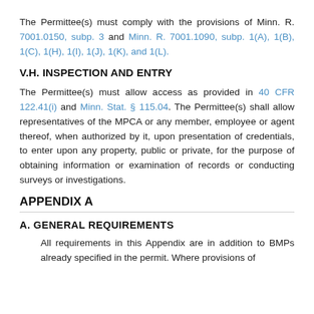The Permittee(s) must comply with the provisions of Minn. R. 7001.0150, subp. 3 and Minn. R. 7001.1090, subp. 1(A), 1(B), 1(C), 1(H), 1(I), 1(J), 1(K), and 1(L).
V.H. INSPECTION AND ENTRY
The Permittee(s) must allow access as provided in 40 CFR 122.41(i) and Minn. Stat. § 115.04. The Permittee(s) shall allow representatives of the MPCA or any member, employee or agent thereof, when authorized by it, upon presentation of credentials, to enter upon any property, public or private, for the purpose of obtaining information or examination of records or conducting surveys or investigations.
APPENDIX A
A. GENERAL REQUIREMENTS
All requirements in this Appendix are in addition to BMPs already specified in the permit. Where provisions of